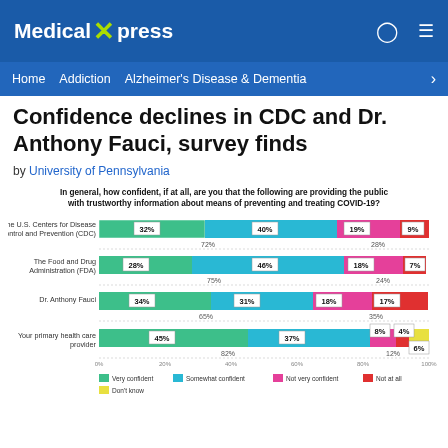Medical Xpress
Home  Addiction  Alzheimer's Disease & Dementia
Confidence declines in CDC and Dr. Anthony Fauci, survey finds
by University of Pennsylvania
[Figure (stacked-bar-chart): In general, how confident, if at all, are you that the following are providing the public with trustworthy information about means of preventing and treating COVID-19?]